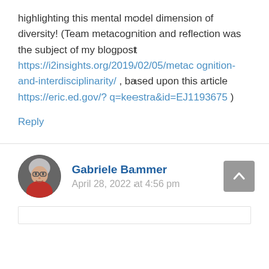highlighting this mental model dimension of diversity! (Team metacognition and reflection was the subject of my blogpost https://i2insights.org/2019/02/05/metacognition-and-interdisciplinarity/ , based upon this article https://eric.ed.gov/?q=keestra&id=EJ1193675 )
Reply
[Figure (photo): Circular avatar photo of Gabriele Bammer, an older woman with short gray hair wearing a red top]
Gabriele Bammer
April 28, 2022 at 4:56 pm